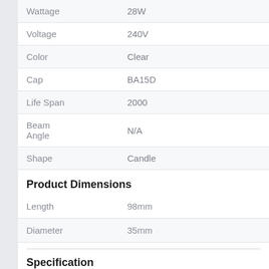| Property | Value |
| --- | --- |
| Wattage | 28W |
| Voltage | 240V |
| Color | Clear |
| Cap | BA15D |
| Life Span | 2000 |
| Beam Angle | N/A |
| Shape | Candle |
Product Dimensions
| Property | Value |
| --- | --- |
| Length | 98mm |
| Diameter | 35mm |
Specification